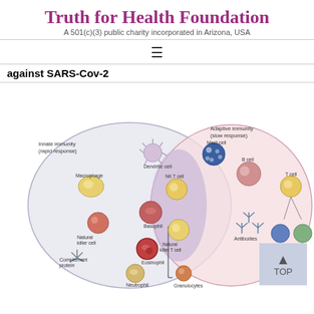Truth for Health Foundation
A 501(c)(3) public charity incorporated in Arizona, USA
against SARS-Cov-2
[Figure (illustration): Venn diagram showing two overlapping circles representing the immune system. Left circle labeled 'Innate immunity (rapid response)' contains illustrations of: Dendritic cell, Mast cell, Macrophage, Natural killer cell, Complement protein, Basophil, Eosinophil, Neutrophil, Granulocytes. Right circle labeled 'Adaptive immunity (slow response)' contains: B cell, T cell, Antibodies, CD4+ T cell, CD8+ T cell. The overlapping region contains: NK T cell, Natural killer T cell. A 'TOP' navigation button appears in the bottom right corner.]